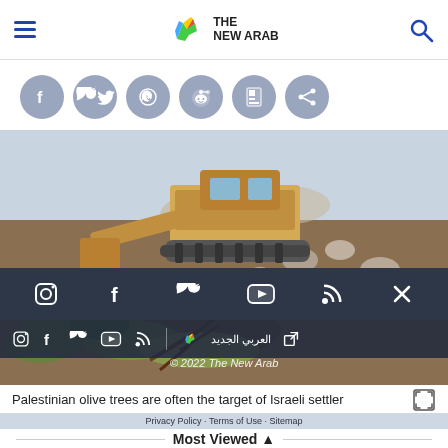THE NEW ARAB — navigation header with hamburger menu, logo, and search icon
[Figure (screenshot): Six social share buttons (Facebook, Twitter, WhatsApp, Reddit, Flipboard, Share) as circular grey icons]
[Figure (photo): Photo of a bulldozer uprooting vegetation/olive trees on rocky terrain]
[Figure (screenshot): Dark overlay bar with social media icons: Instagram, Facebook, Twitter, YouTube, RSS, X (close)]
[Figure (screenshot): Lower dark overlay bar with social icons and Arabic logo العربي الجديد with external link icon]
Palestinian olive trees are often the target of Israeli settler
Privacy Policy · Terms of Use · Sitemap
Most Viewed ▲